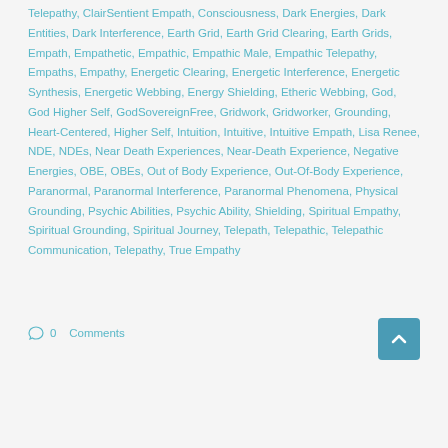Telepathy, ClairSentient Empath, Consciousness, Dark Energies, Dark Entities, Dark Interference, Earth Grid, Earth Grid Clearing, Earth Grids, Empath, Empathetic, Empathic, Empathic Male, Empathic Telepathy, Empaths, Empathy, Energetic Clearing, Energetic Interference, Energetic Synthesis, Energetic Webbing, Energy Shielding, Etheric Webbing, God, God Higher Self, GodSovereignFree, Gridwork, Gridworker, Grounding, Heart-Centered, Higher Self, Intuition, Intuitive, Intuitive Empath, Lisa Renee, NDE, NDEs, Near Death Experiences, Near-Death Experience, Negative Energies, OBE, OBEs, Out of Body Experience, Out-Of-Body Experience, Paranormal, Paranormal Interference, Paranormal Phenomena, Physical Grounding, Psychic Abilities, Psychic Ability, Shielding, Spiritual Empathy, Spiritual Grounding, Spiritual Journey, Telepath, Telepathic, Telepathic Communication, Telepathy, True Empathy
0 Comments